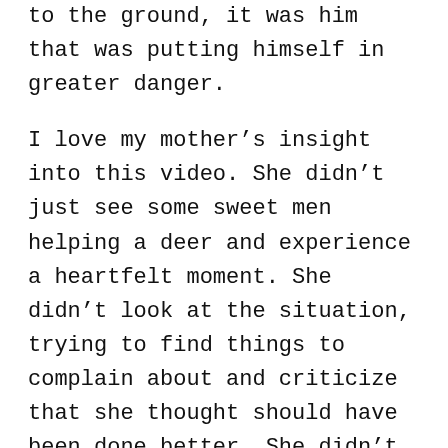to the ground, it was him that was putting himself in greater danger.
I love my mother’s insight into this video. She didn’t just see some sweet men helping a deer and experience a heartfelt moment. She didn’t look at the situation, trying to find things to complain about and criticize that she thought should have been done better. She didn’t brag and tru to one up with a story about a circumstance she read in that put her in a similar proposition as these men. No, she saw herself as the helpless deer that found herself in need and fighting against the help right